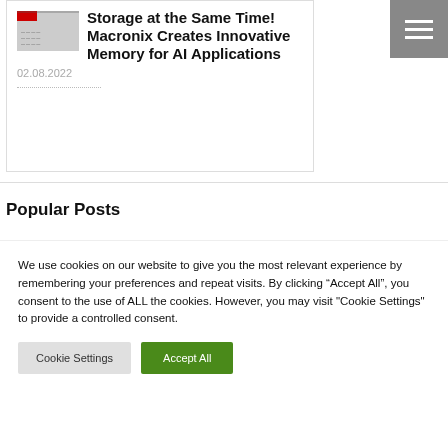Storage at the Same Time! Macronix Creates Innovative Memory for AI Applications
02.08.2022
Popular Posts
We use cookies on our website to give you the most relevant experience by remembering your preferences and repeat visits. By clicking “Accept All”, you consent to the use of ALL the cookies. However, you may visit "Cookie Settings" to provide a controlled consent.